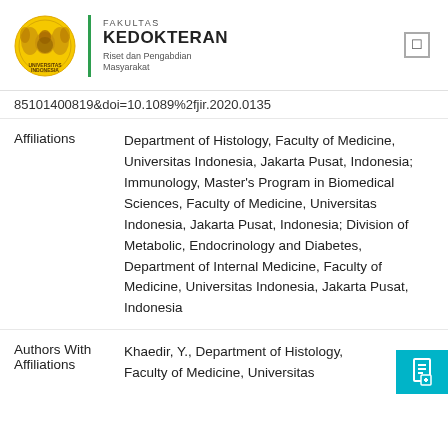FAKULTAS KEDOKTERAN Riset dan Pengabdian Masyarakat
85101400819&doi=10.1089%2fjir.2020.0135
Affiliations: Department of Histology, Faculty of Medicine, Universitas Indonesia, Jakarta Pusat, Indonesia; Immunology, Master's Program in Biomedical Sciences, Faculty of Medicine, Universitas Indonesia, Jakarta Pusat, Indonesia; Division of Metabolic, Endocrinology and Diabetes, Department of Internal Medicine, Faculty of Medicine, Universitas Indonesia, Jakarta Pusat, Indonesia
Authors With Affiliations: Khaedir, Y., Department of Histology, Faculty of Medicine, Universitas